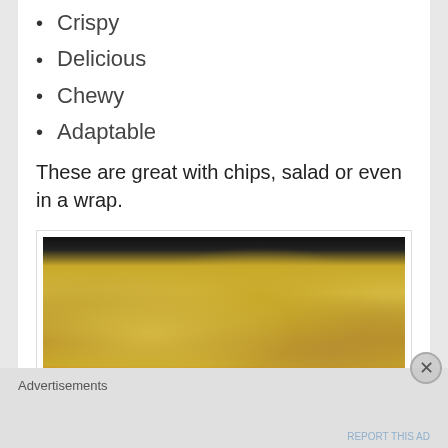Crispy
Delicious
Chewy
Adaptable
These are great with chips, salad or even in a wrap.
[Figure (photo): A plate of crispy breaded food pieces, coated in golden breadcrumbs with green herb flecks, stacked on an orange-rimmed plate.]
Advertisements